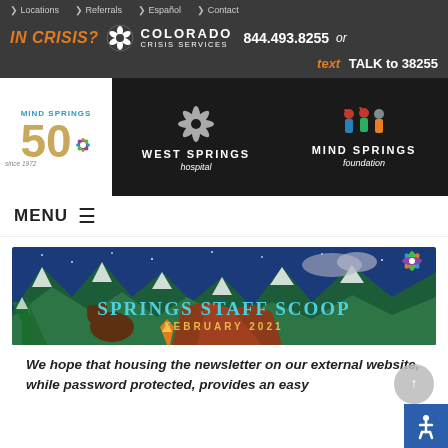Locations | Referrals | Español | Contact
IN CRISIS? COLORADO CRISIS SERVICES 844.493.8255 or text TALK to 38255
[Figure (logo): Mind Springs 50 since 1972 logo, West Springs hospital logo, Mind Springs foundation logo with people illustration]
MENU ☰
[Figure (illustration): Springs Staff Scoop February 2021 banner with winter Colorado mountain scene illustration featuring bears, trees, fire, and snow]
We hope that housing the newsletter on our external website, while password protected, provides an easy